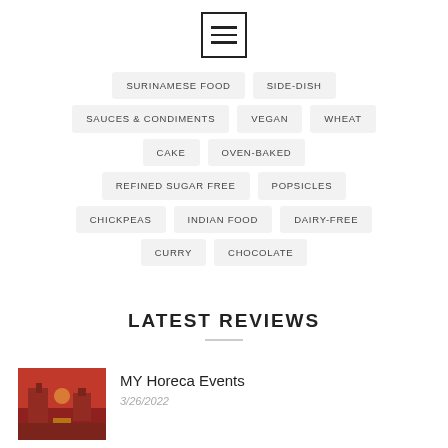[Figure (illustration): Hamburger menu icon — three horizontal lines inside a square border]
SURINAMESE FOOD
SIDE-DISH
SAUCES & CONDIMENTS
VEGAN
WHEAT
CAKE
OVEN-BAKED
REFINED SUGAR FREE
POPSICLES
CHICKPEAS
INDIAN FOOD
DAIRY-FREE
CURRY
CHOCOLATE
LATEST REVIEWS
MY Horeca Events
3/26/2022